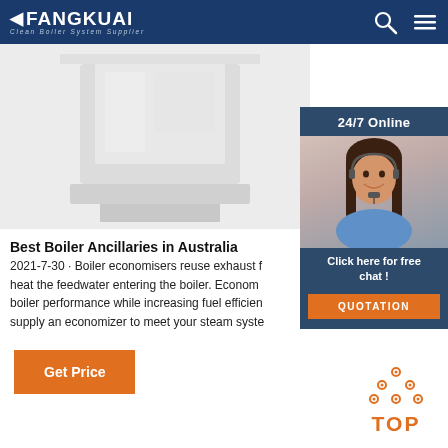FANGKUAI Clean Boiler System Supplier
[Figure (photo): White industrial boiler unit product photo]
[Figure (photo): Customer service representative with headset, 24/7 Online chat widget with QUOTATION button]
Best Boiler Ancillaries in Australia
2021-7-30 · Boiler economisers reuse exhaust flue gas heat to heat the feedwater entering the boiler. Economisers improve boiler performance while increasing fuel efficiency. We can supply an economizer to meet your steam system needs.
Get Price
[Figure (other): TOP scroll-to-top button with orange dots and text]